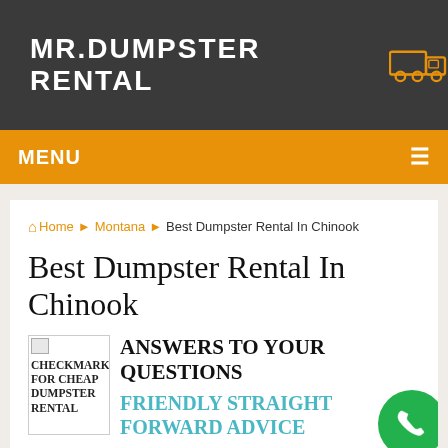MR.DUMPSTER RENTAL
MENU
Home › Montana › Best Dumpster Rental In Chinook
Best Dumpster Rental In Chinook
[Figure (infographic): Checkmark icon image (broken/placeholder) with alt text 'CHECKMARK FOR CHEAP DUMPSTER RENTAL']
ANSWERS TO YOUR QUESTIONS
FRIENDLY STRAIGHT FORWARD ADVICE
We realize you may have a few